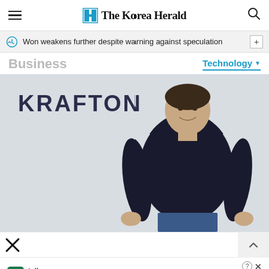The Korea Herald
Won weakens further despite warning against speculation
Business
Technology
[Figure (photo): A man wearing a black long-sleeve shirt and blue jeans stands in front of a KRAFTON logo sign on a light grey wall.]
tally
Fast credit card payoff
Download Now →